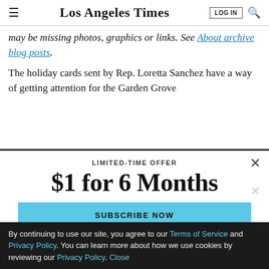Los Angeles Times
may be missing photos, graphics or links. See About archive blog posts.
The holiday cards sent by Rep. Loretta Sanchez have a way of getting attention for the Garden Grove
[Figure (screenshot): Subscription modal overlay with LIMITED-TIME OFFER text, $1 for 6 Months headline, and SUBSCRIBE NOW button in light blue]
By continuing to use our site, you agree to our Terms of Service and Privacy Policy. You can learn more about how we use cookies by reviewing our Privacy Policy. Close